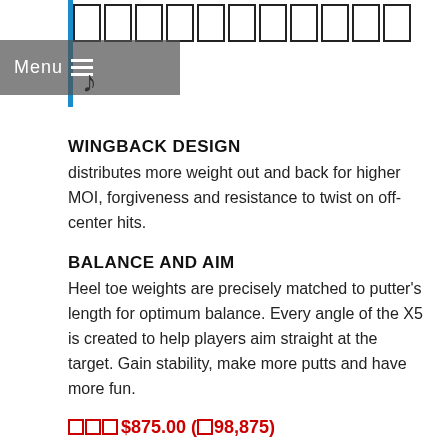[Figure (other): Top navigation bar with blue vertical line, menu button with hamburger icon, row of empty rectangular cells (like a navigation/tab bar), and a musical note icon below.]
WINGBACK DESIGN
distributes more weight out and back for higher MOI, forgiveness and resistance to twist on off-center hits.
BALANCE AND AIM
Heel toe weights are precisely matched to putter's length for optimum balance. Every angle of the X5 is created to help players aim straight at the target. Gain stability, make more putts and have more fun.
□□□$875.00 (□98,875)